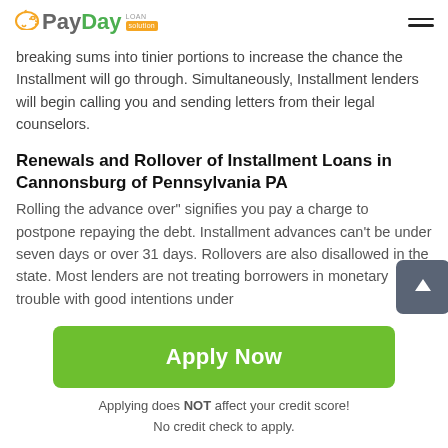PayDay LOAN solution
breaking sums into tinier portions to increase the chance the Installment will go through. Simultaneously, Installment lenders will begin calling you and sending letters from their legal counselors.
Renewals and Rollover of Installment Loans in Cannonsburg of Pennsylvania PA
Rolling the advance over" signifies you pay a charge to postpone repaying the debt. Installment advances can't be under seven days or over 31 days. Rollovers are also disallowed in the state. Most lenders are not treating borrowers in monetary trouble with good intentions under
[Figure (other): Green 'Apply Now' button]
Applying does NOT affect your credit score!
No credit check to apply.